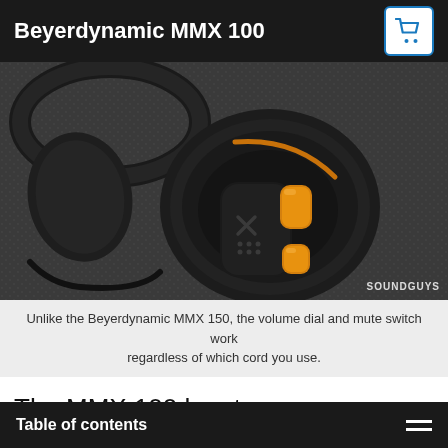Beyerdynamic MMX 100
[Figure (photo): Close-up photo of Beyerdynamic MMX 100 gaming headset earcup on a dark fabric surface, showing orange volume dial and mute switch controls, with SOUNDGUYS watermark]
Unlike the Beyerdynamic MMX 150, the volume dial and mute switch work regardless of which cord you use.
The MMX 100 has two on-ear control options. There’s a dial for controlling volume and a spring-loaded switch for muting the microphone. The
Table of contents